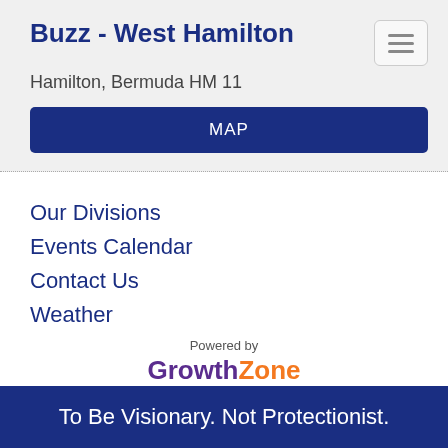Buzz - West Hamilton
Hamilton, Bermuda HM 11
MAP
Our Divisions
Events Calendar
Contact Us
Weather
[Figure (logo): Powered by GrowthZone logo]
To Be Visionary. Not Protectionist.